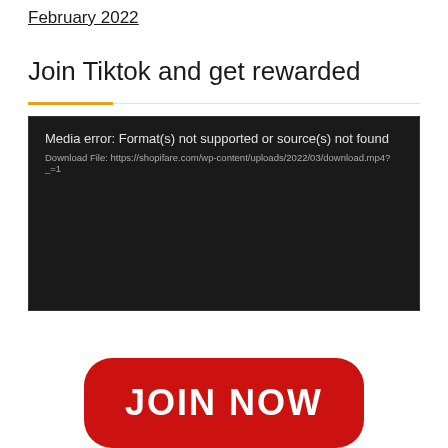February 2022
Join Tiktok and get rewarded
[Figure (screenshot): Video player showing media error: 'Media error: Format(s) not supported or source(s) not found' with download file link https://shopifare.com/wp-content/uploads/2022/03/download.mp4?_=1 on a black background.]
[Figure (other): Red rounded rectangle button with white bold text reading 'JOIN NOW']